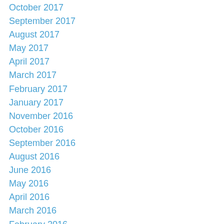October 2017
September 2017
August 2017
May 2017
April 2017
March 2017
February 2017
January 2017
November 2016
October 2016
September 2016
August 2016
June 2016
May 2016
April 2016
March 2016
February 2016
January 2016
December 2015
November 2015